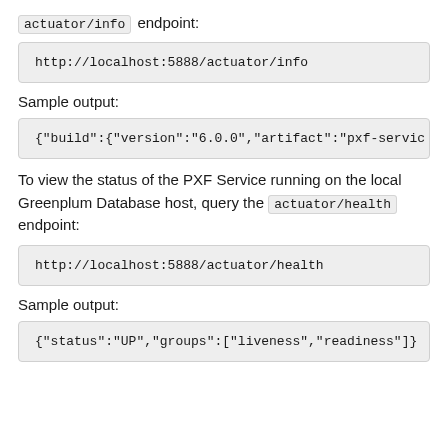actuator/info endpoint:
http://localhost:5888/actuator/info
Sample output:
{"build":{"version":"6.0.0","artifact":"pxf-servic
To view the status of the PXF Service running on the local Greenplum Database host, query the actuator/health endpoint:
http://localhost:5888/actuator/health
Sample output:
{"status":"UP","groups":["liveness","readiness"]}